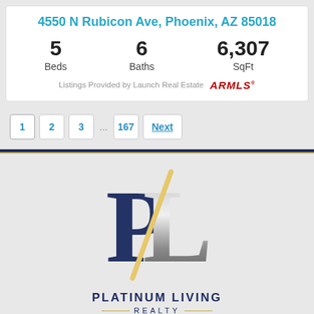4550 N Rubicon Ave, Phoenix, AZ 85018
5 Beds  6 Baths  6,307 SqFt
Listings Provided by Launch Real Estate  ARMLS
1
2
3
167
Next
[Figure (logo): Platinum Living Realty logo: large stylized PL letters in navy blue and silver/gray with a gold diagonal slash, company name below in navy blue uppercase letters with gold horizontal lines beside REALTY subtext]